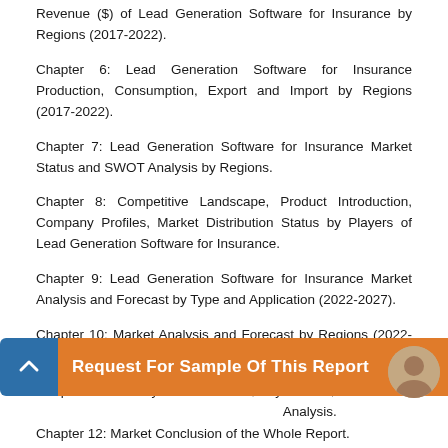Revenue ($) of Lead Generation Software for Insurance by Regions (2017-2022).
Chapter 6: Lead Generation Software for Insurance Production, Consumption, Export and Import by Regions (2017-2022).
Chapter 7: Lead Generation Software for Insurance Market Status and SWOT Analysis by Regions.
Chapter 8: Competitive Landscape, Product Introduction, Company Profiles, Market Distribution Status by Players of Lead Generation Software for Insurance.
Chapter 9: Lead Generation Software for Insurance Market Analysis and Forecast by Type and Application (2022-2027).
Chapter 10: Market Analysis and Forecast by Regions (2022-2027).
Chapter 11: Industry Characteristics, Key Factors, New Entrants SWOT Analysis, Investment Feasibility Analysis.
Chapter 12: Market Conclusion of the Whole Report.